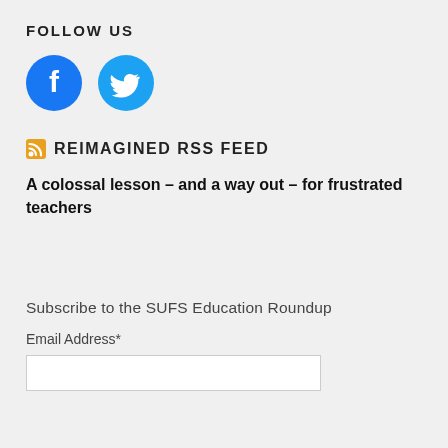FOLLOW US
[Figure (illustration): Two social media icons: Facebook (blue circle with 'f' logo) and Twitter (blue circle with bird logo)]
REIMAGINED RSS FEED
A colossal lesson – and a way out – for frustrated teachers
Subscribe to the SUFS Education Roundup
Email Address*